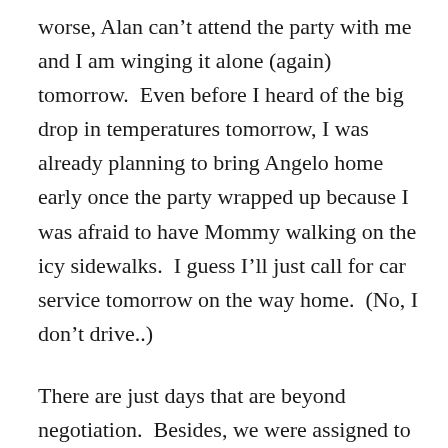worse, Alan can't attend the party with me and I am winging it alone (again) tomorrow.  Even before I heard of the big drop in temperatures tomorrow, I was already planning to bring Angelo home early once the party wrapped up because I was afraid to have Mommy walking on the icy sidewalks.  I guess I'll just call for car service tomorrow on the way home.  (No, I don't drive..)
There are just days that are beyond negotiation.  Besides, we were assigned to bring Christmas cookies which I had picked up from the grocery this evening.  More importantly, I know it's an event Angelo is looking forward to attending.   So we'll bundle up — me and my boy.  I'll call the car service and make